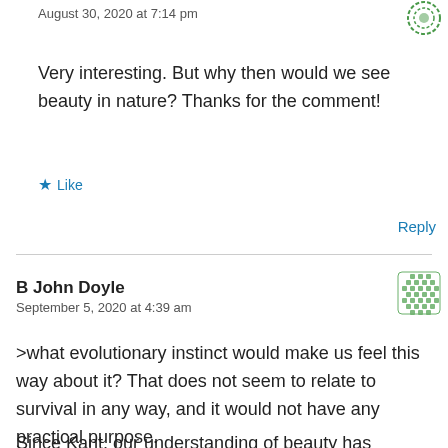August 30, 2020 at 7:14 pm
Very interesting. But why then would we see beauty in nature? Thanks for the comment!
★ Like
Reply
B John Doyle
September 5, 2020 at 4:39 am
>what evolutionary instinct would make us feel this way about it? That does not seem to relate to survival in any way, and it would not have any practical purpose.
Since Kant, our understanding of beauty has expanded to